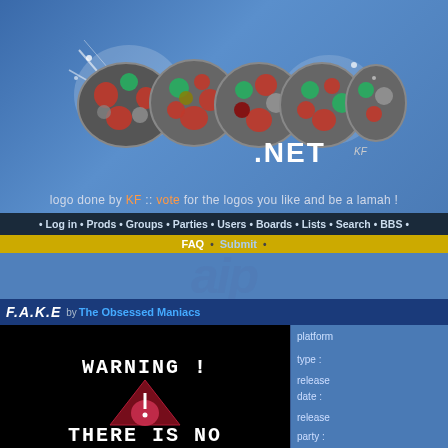[Figure (logo): Pouet.net logo with colorful bubble letters and .NET text, white glow effect on blue background]
logo done by KF :: vote for the logos you like and be a lamah !
• Log in • Prods • Groups • Parties • Users • Boards • Lists • Search • BBS •
FAQ • Submit •
F.A.K.E by The Obsessed Maniacs
[Figure (screenshot): Demo screenshot with WARNING! THERE IS NO text on black background with red/maroon icon]
platform
type :
release date :
release party :